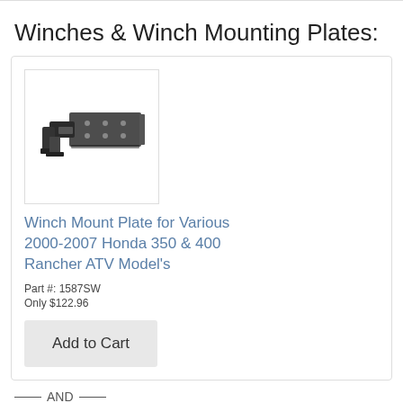Winches & Winch Mounting Plates:
[Figure (photo): Winch mount plate product photo showing a black metal bracket/mounting plate assembly for ATV]
Winch Mount Plate for Various 2000-2007 Honda 350 & 400 Rancher ATV Model's
Part #: 1587SW
Only $122.96
Add to Cart
— AND —